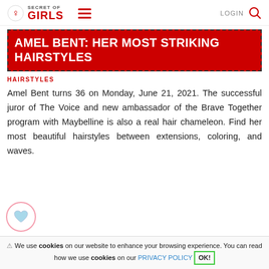SECRET OF GIRLS | LOGIN
AMEL BENT: HER MOST STRIKING HAIRSTYLES
HAIRSTYLES
Amel Bent turns 36 on Monday, June 21, 2021. The successful juror of The Voice and new ambassador of the Brave Together program with Maybelline is also a real hair chameleon. Find her most beautiful hairstyles between extensions, coloring, and waves.
⚠ We use cookies on our website to enhance your browsing experience. You can read how we use cookies on our PRIVACY POLICY OK!